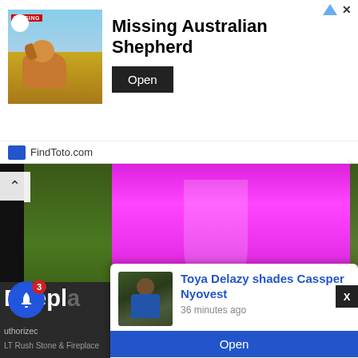[Figure (other): Advertisement banner: Missing Australian Shepherd dog photo with MISSING badge, FindToto.com ad with Open button]
Missing Australian Shepherd
FindToto.com
[Figure (photo): Hero photo of pink/magenta dress or outfit against outdoor background with trees, with Zed Celebs orange badge overlay]
Dennis T  May 10, 2021  0  30
Cleo Ice Queen Serves Body Goals – Photos
Rapper Cleo Ice Queen has taken to social media to put a smile on her fanbase's faces. Cleo is one Zed celeb…
[Figure (other): Fireplace advertisement partial view with authorized dealer and LT Rush Stone & Fireplace text]
[Figure (other): Notification popup showing Toya Delazy shades Cassper Nyovest article with person photo, 36 minutes ago, Open button]
Toya Delazy shades Cassper Nyovest
36 minutes ago